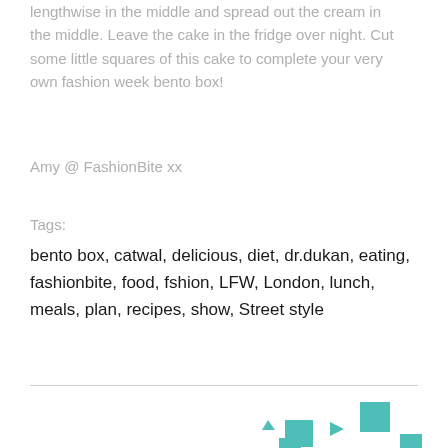lengthwise in the middle and spread out the cream in the middle. Leave the cake in the fridge over night. Cut some little squares of this cake to complete your very own fashion week bento box!
Amy @ FashionBite xx
Tags:
bento box, catwal, delicious, diet, dr.dukan, eating, fashionbite, food, fshion, LFW, London, lunch, meals, plan, recipes, show, Street style
[Figure (logo): Teal/turquoise geometric logo shapes at the bottom of the page]